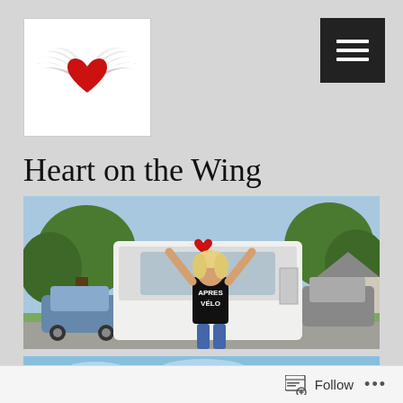[Figure (logo): Heart with wings logo in white box — a red heart with grey/white wings spread on either side]
[Figure (other): Black hamburger menu button (three horizontal lines) on black background, top right corner]
Heart on the Wing
[Figure (photo): Woman with arms raised in front of a white RV/camper van that has a heart-with-wings logo on its front. She is wearing a black t-shirt reading 'APRES VELO'. Background shows suburban setting with trees and a house.]
Pintao
[Figure (photo): Partial view of a second photo — blue sky and tree tops visible at the bottom of the page]
Follow ...